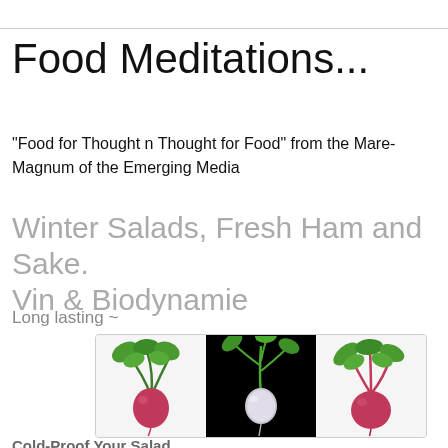Food Meditations...
"Food for Thought n Thought for Food" from the Mare-Magnum of the Emerging Media
Winter Salads, Fresh Ham and Sake. Vin & Biodynamie
Long lasting ~
[Figure (photo): Three images of root vegetables (radishes/beets) with green tops, arranged side by side. Left image shows a radish on white background, middle image shows a radish on black background, right image shows a beet on white background.]
Cold-Proof Your Salad